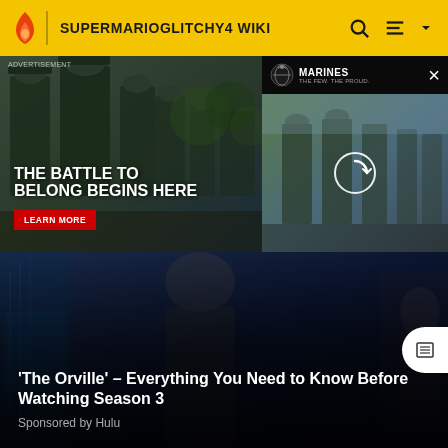SUPERMARIOGLITCHY4 WIKI
[Figure (screenshot): Marines advertisement with soldiers in camouflage. Left panel shows soldiers with text 'THE BATTLE TO BELONG BEGINS HERE' and a red 'LEARN MORE' button. Right panel shows Marines logo with 'THE FEW. THE PROUD.' tagline and a video frame with a refresh/loading icon.]
[Figure (screenshot): Promotional banner for 'The Orville' season 3 with dark sci-fi background imagery and text overlay reading ''The Orville' – Everything You Need to Know Before Watching Season 3' with 'Sponsored by Hulu' below.]
[Figure (photo): Partial view of bottom section showing a character or figure on a light gray background, partially cut off at bottom of page.]